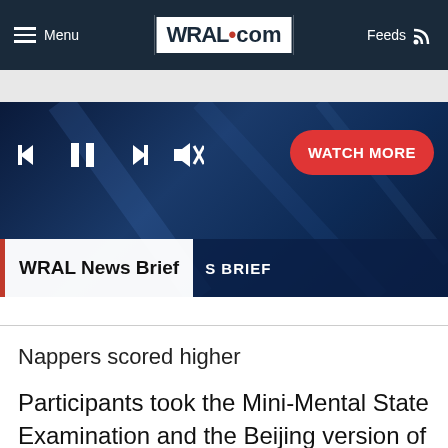Menu | WRAL.com | Feeds
[Figure (screenshot): WRAL News Brief video player with media controls (skip back, pause, skip forward, mute) and a red 'WATCH MORE' button. Bottom bar shows 'WRAL News Brief' text with red vertical bar and 'S BRIEF' overlay on dark background.]
Nappers scored higher
Participants took the Mini-Mental State Examination and the Beijing version of the Montreal Cognitive Assessment, both of